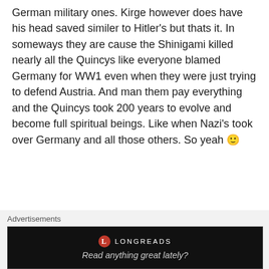German military ones. Kirge however does have his head saved similer to Hitler's but thats it. In someways they are cause the Shinigami killed nearly all the Quincys like everyone blamed Germany for WW1 even when they were just trying to defend Austria. And man them pay everything and the Quincys took 200 years to evolve and become full spiritual beings. Like when Nazi's took over Germany and all those others. So yeah 🙂
★ Like
Ne3X7
Advertisements — Longreads: Read anything great lately?